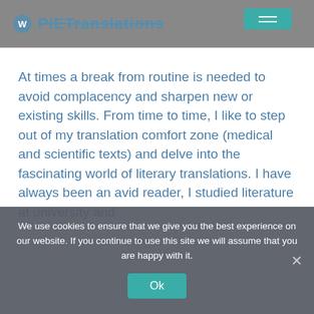[Figure (screenshot): Website header banner with logo 'PiETranslations' and a teal menu button on dark grey background]
At times a break from routine is needed to avoid complacency and sharpen new or existing skills. From time to time, I like to step out of my translation comfort zone (medical and scientific texts) and delve into the fascinating world of literary translations. I have always been an avid reader, I studied literature at university and
We use cookies to ensure that we give you the best experience on our website. If you continue to use this site we will assume that you are happy with it.